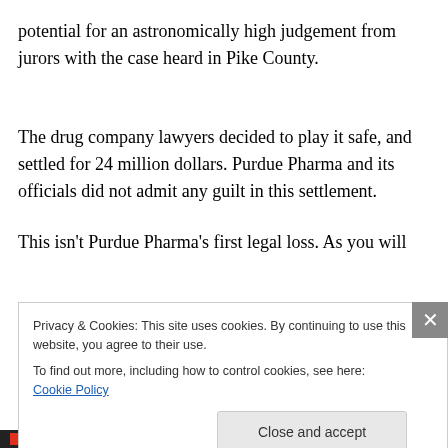potential for an astronomically high judgement from jurors with the case heard in Pike County.
The drug company lawyers decided to play it safe, and settled for 24 million dollars. Purdue Pharma and its officials did not admit any guilt in this settlement.
This isn't Purdue Pharma's first legal loss. As you will
Privacy & Cookies: This site uses cookies. By continuing to use this website, you agree to their use.
To find out more, including how to control cookies, see here: Cookie Policy
Close and accept